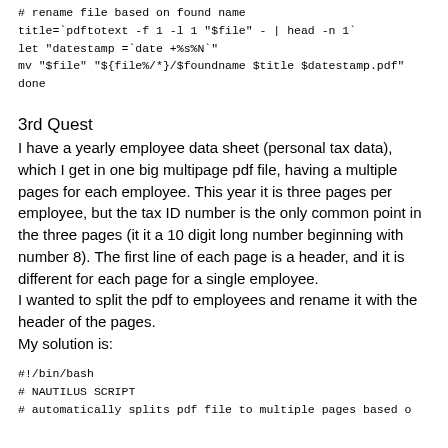# rename file based on found name
title=`pdftotext -f 1 -l 1 "$file" - | head -n 1`
let "datestamp =`date +%s%N`"
mv "$file" "${file%/*}/$foundname $title $datestamp.pdf"
done
3rd Quest
I have a yearly employee data sheet (personal tax data), which I get in one big multipage pdf file, having a multiple pages for each employee. This year it is three pages per employee, but the tax ID number is the only common point in the three pages (it it a 10 digit long number beginning with number 8). The first line of each page is a header, and it is different for each page for a single employee.
I wanted to split the pdf to employees and rename it with the header of the pages.
My solution is:
#!/bin/bash
# NAUTILUS SCRIPT
# automatically splits pdf file to multiple pages based o